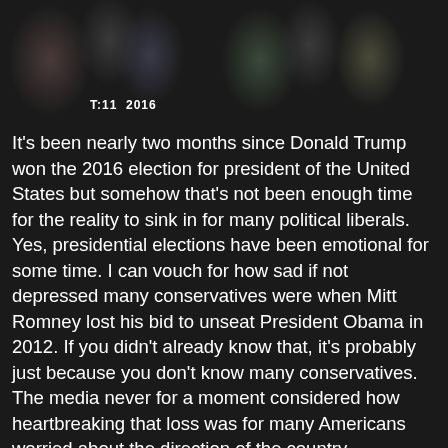[Figure (photo): Crowd of people seated at an event, dark background. A timestamp or label reading 'T:11 2016' is visible in the lower-left area of the photo.]
It's been nearly two months since Donald Trump won the 2016 election for president of the United States but somehow that's not been enough time for the reality to sink in for many political liberals. Yes, presidential elections have been emotional for some time. I can vouch for how sad if not depressed many conservatives were when Mitt Romney lost his bid to unseat President Obama in 2012. If you didn't already know that, it's probably just because you don't know many conservatives. The media never for a moment considered how heartbreaking that loss was for many Americans worried about the direction of the country.
But as the media overwhelmingly tend to the political left and chose not obscure their bias so much this round, we've been given daily examples of the